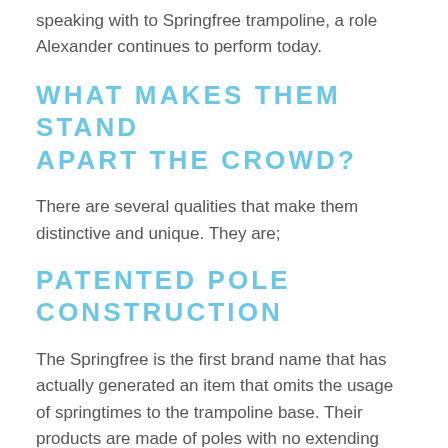speaking with to Springfree trampoline, a role Alexander continues to perform today.
WHAT MAKES THEM STAND APART THE CROWD?
There are several qualities that make them distinctive and unique. They are;
PATENTED POLE CONSTRUCTION
The Springfree is the first brand name that has actually generated an item that omits the usage of springtimes to the trampoline base. Their products are made of poles with no extending screws in it